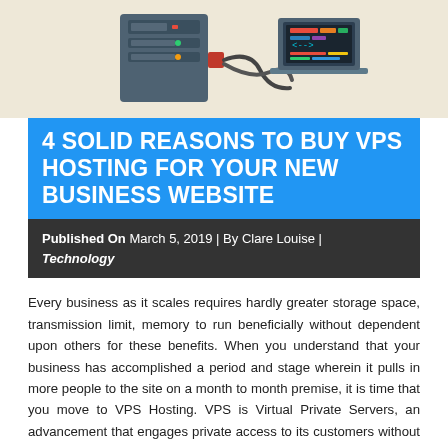[Figure (illustration): Illustration of server hardware and a laptop computer with code/icons on screen, on a light beige background]
4 SOLID REASONS TO BUY VPS HOSTING FOR YOUR NEW BUSINESS WEBSITE
Published On March 5, 2019 | By Clare Louise | Technology
Every business as it scales requires hardly greater storage space, transmission limit, memory to run beneficially without dependent upon others for these benefits. When you understand that your business has accomplished a period and stage wherein it pulls in more people to the site on a month to month premise, it is time that you move to VPS Hosting. VPS is Virtual Private Servers, an advancement that engages private access to its customers without sharing resources among various clients. Getting to